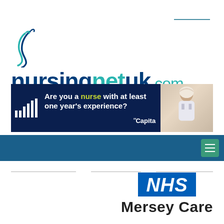[Figure (logo): nursingnetuk.com logo with teal swirl icon and blue/teal wordmark]
[Figure (infographic): Capita banner ad on dark navy background: 'Are you a nurse with at least one year's experience?' with photo of nurse on right]
[Figure (screenshot): Dark blue navigation bar with teal hamburger menu icon on right]
[Figure (logo): NHS blue logo box with italic white text 'NHS' and 'Mersey Care' text below]